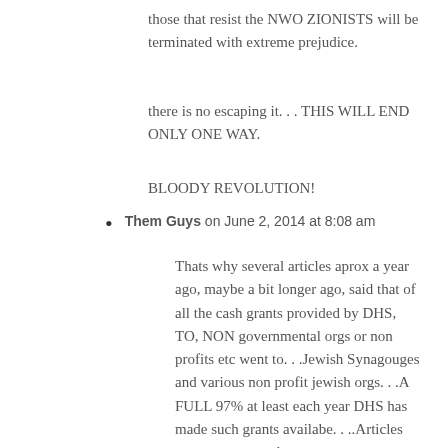those that resist the NWO ZIONISTS will be terminated with extreme prejudice.
there is no escaping it. . . THIS WILL END ONLY ONE WAY.
BLOODY REVOLUTION!
Them Guys on June 2, 2014 at 8:08 am
Thats why several articles aprox a year ago, maybe a bit longer ago, said that of all the cash grants provided by DHS, TO, NON governmental orgs or non profits etc went to. . .Jewish Synagouges and various non profit jewish orgs. . .A FULL 97% at least each year DHS has made such grants availabe. . ..Articles went on to stats that most was spent on Steel entry doors, Bulletproof d...